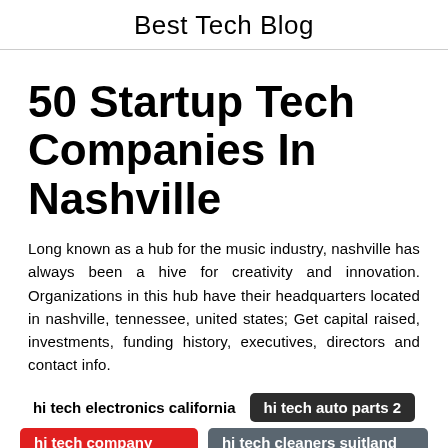Best Tech Blog
50 Startup Tech Companies In Nashville
Long known as a hub for the music industry, nashville has always been a hive for creativity and innovation. Organizations in this hub have their headquarters located in nashville, tennessee, united states; Get capital raised, investments, funding history, executives, directors and contact info.
hi tech electronics california
hi tech auto parts 2
hi tech company delhi
hi tech cleaners suitland md